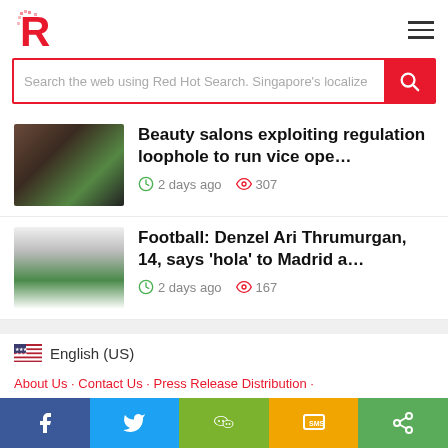R (Red Hot logo) — hamburger menu
Search the web using Red Hot Search. Singapore's localized
Beauty salons exploiting regulation loophole to run vice ope...
2 days ago  307
Football: Denzel Ari Thrumurgan, 14, says 'hola' to Madrid a...
2 days ago  167
English (US)
About Us · Contact Us · Press Release Distribution ·
Facebook  Twitter  WeChat  SMS  Share